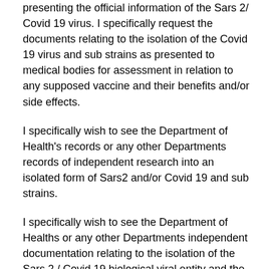presenting the official information of the Sars 2/ Covid 19 virus. I specifically request the documents relating to the isolation of the Covid 19 virus and sub strains as presented to medical bodies for assessment in relation to any supposed vaccine and their benefits and/or side effects.
I specifically wish to see the Department of Health's records or any other Departments records of independent research into an isolated form of Sars2 and/or Covid 19 and sub strains.
I specifically wish to see the Department of Healths or any other Departments independent documentation relating to the isolation of the Sars 2 / Covid 19 biological viral entity and the captured vision via electron microscope and/or any other method of capturing vision of the Covid 19 virus at molecular level.